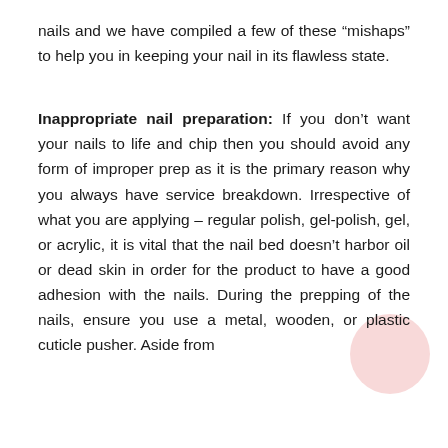nails and we have compiled a few of these “mishaps” to help you in keeping your nail in its flawless state.
Inappropriate nail preparation: If you don’t want your nails to life and chip then you should avoid any form of improper prep as it is the primary reason why you always have service breakdown. Irrespective of what you are applying – regular polish, gel-polish, gel, or acrylic, it is vital that the nail bed doesn’t harbor oil or dead skin in order for the product to have a good adhesion with the nails. During the prepping of the nails, ensure you use a metal, wooden, or plastic cuticle pusher. Aside from